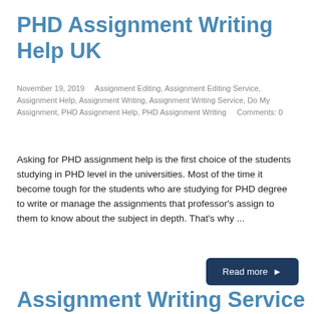PHD Assignment Writing Help UK
November 19, 2019     Assignment Editing, Assignment Editing Service, Assignment Help, Assignment Writing, Assignment Writing Service, Do My Assignment, PHD Assignment Help, PHD Assignment Writing     Comments: 0
Asking for PHD assignment help is the first choice of the students studying in PHD level in the universities. Most of the time it become tough for the students who are studying for PHD degree to write or manage the assignments that professor's assign to them to know about the subject in depth. That's why ...
Read more ►
Assignment Writing Service